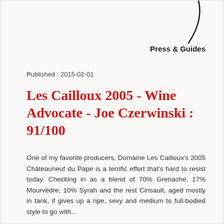[Figure (illustration): Partial decorative curved line or logo element in top right corner]
Press & Guides
Published : 2015-02-01
Les Cailloux 2005 - Wine Advocate - Joe Czerwinski : 91/100
One of my favorite producers, Domaine Les Cailloux's 2005 Châteauneuf du Pape is a terrific effort that's hard to resist today. Checking in as a blend of 70% Grenache, 17% Mourvèdre, 10% Syrah and the rest Cinsault, aged mostly in tank, if gives up a ripe, sexy and medium to full-bodied style to go with...